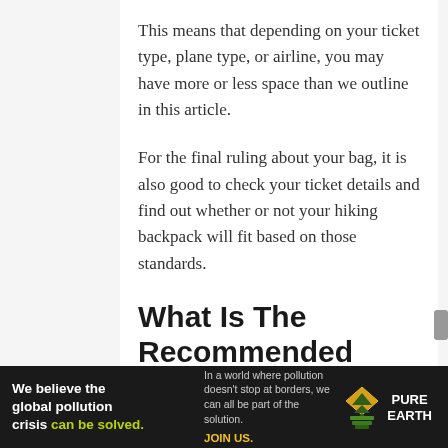This means that depending on your ticket type, plane type, or airline, you may have more or less space than we outline in this article.
For the final ruling about your bag, it is also good to check your ticket details and find out whether or not your hiking backpack will fit based on those standards.
What Is The Recommended Size
[Figure (other): Pure Earth advertisement banner: 'We believe the global pollution crisis can be solved.' with Pure Earth logo]